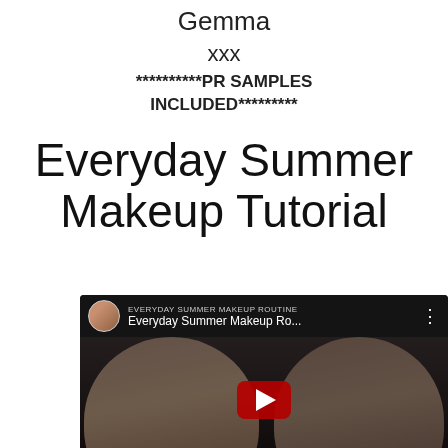always thanks for sharing.
Gemma
xxx
**********PR SAMPLES INCLUDED*********
Everyday Summer Makeup Tutorial
[Figure (screenshot): YouTube video embed showing 'Everyday Summer Makeup Ro...' with a woman's face before and after makeup, a red YouTube play button in the center, and a BEAUTYNOOK watermark at the bottom.]